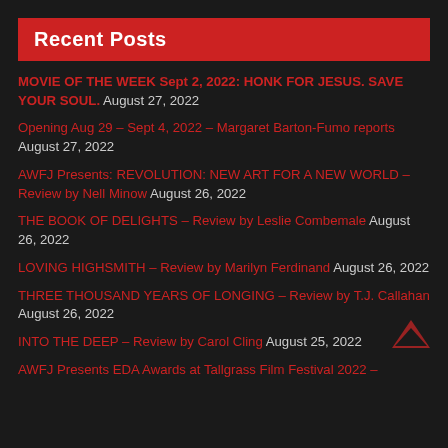Recent Posts
MOVIE OF THE WEEK Sept 2, 2022: HONK FOR JESUS. SAVE YOUR SOUL. August 27, 2022
Opening Aug 29 – Sept 4, 2022 – Margaret Barton-Fumo reports August 27, 2022
AWFJ Presents: REVOLUTION: NEW ART FOR A NEW WORLD – Review by Nell Minow August 26, 2022
THE BOOK OF DELIGHTS – Review by Leslie Combemale August 26, 2022
LOVING HIGHSMITH – Review by Marilyn Ferdinand August 26, 2022
THREE THOUSAND YEARS OF LONGING – Review by T.J. Callahan August 26, 2022
INTO THE DEEP – Review by Carol Cling August 25, 2022
AWFJ Presents EDA Awards at Tallgrass Film Festival 2022 –